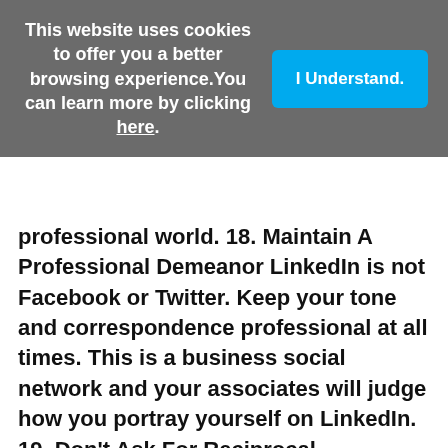This website uses cookies to offer you a better browsing experience. You can learn more by clicking here.
I Understand.
professional world. 18. Maintain A Professional Demeanor LinkedIn is not Facebook or Twitter. Keep your tone and correspondence professional at all times. This is a business social network and your associates will judge how you portray yourself on LinkedIn. 19. Don't Ask For Reciprocal Endorsements You may have endorsed all of their skills, but asking people to endorse you just because you endorsed them is a rooky mistake. If people think you are great at your job and have a lot to offer, they will endorse you back. Don't pester someone just because you went to the trouble of endorsing his or her skills. 20. Never